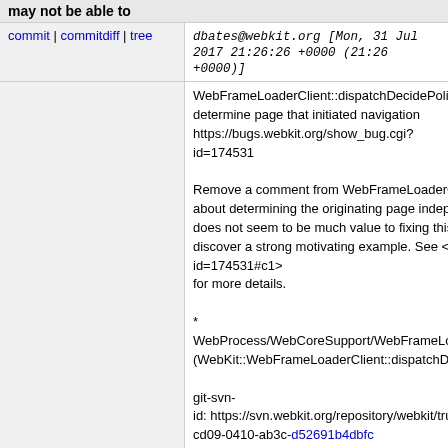may not be able to
commit | commitdiff | tree   dbates@webkit.org [Mon, 31 Jul 2017 21:26:26 +0000 (21:26 +0000)]
WebFrameLoaderClient::dispatchDecidePolicyFor... determine page that initiated navigation https://bugs.webkit.org/show_bug.cgi?id=174531

Remove a comment from WebFrameLoaderClient... about determining the originating page independe... does not seem to be much value to fixing this. We... discover a strong motivating example. See <https:... id=174531#c1>
for more details.

* WebProcess/WebCoreSupport/WebFrameLoade...
(WebKit::WebFrameLoaderClient::dispatchDecide...

git-svn-
id: https://svn.webkit.org/repository/webkit/trunk@
cd09-0410-ab3c-d52691b4dbfc
5 years ago
Unreviewed, rolling out r220048.
commit | commitdiff | tree   jlewis3@apple.com [Mon, 31 Jul 2017 20:31:05 +0000 (20:31 +0000)]
Unreviewed, rolling out r220048.